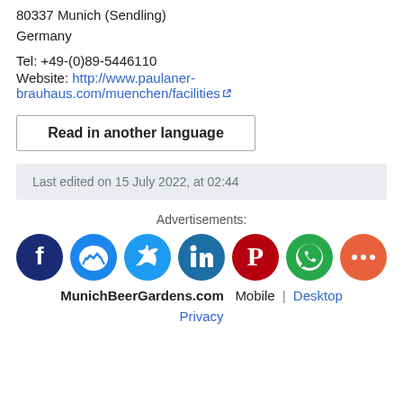80337 Munich (Sendling)
Germany
Tel: +49-(0)89-5446110
Website: http://www.paulaner-brauhaus.com/muenchen/facilities
Read in another language
Last edited on 15 July 2022, at 02:44
Advertisements:
[Figure (infographic): Social sharing icons: Facebook, Messenger, Twitter, LinkedIn, Pinterest, WhatsApp, More]
MunichBeerGardens.com   Mobile | Desktop
Privacy